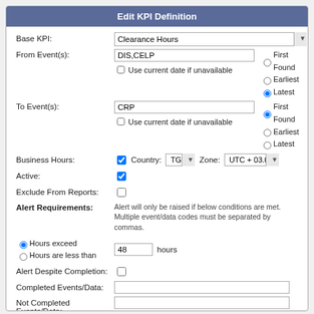Edit KPI Definition
| Base KPI: | Clearance Hours |
| From Event(s): | DIS,CELP | Use current date if unavailable | First Found / Earliest / Latest (selected) |
| To Event(s): | CRP | Use current date if unavailable | First Found (selected) / Earliest / Latest |
| Business Hours: | checked | Country: TG | Zone: UTC + 03.0 |
| Active: | checked |
| Exclude From Reports: | unchecked |
| Alert Requirements: | Alert will only be raised if below conditions are met. Multiple event/data codes must be separated by commas. |
| Hours exceed (selected) / Hours are less than | 48 hours |
| Alert Despite Completion: | unchecked |
| Completed Events/Data: |  |
| Not Completed Events/Data: |  |
Additional Actions: